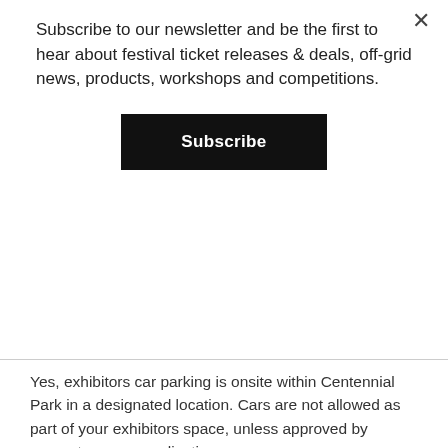Subscribe to our newsletter and be the first to hear about festival ticket releases & deals, off-grid news, products, workshops and competitions.
Subscribe
Yes, exhibitors car parking is onsite within Centennial Park in a designated location. Cars are not allowed as part of your exhibitors space, unless approved by request on your application.
CAN I CAMP ONSITE?
Yes, camping onsite is for exhibitors only and is available Thursday -Sunday night, with facilities (shower/toilet) available for use.
DO I NEED MARKET STALL INSURANCE?
Yes, you must have at minimum of 10M public liability